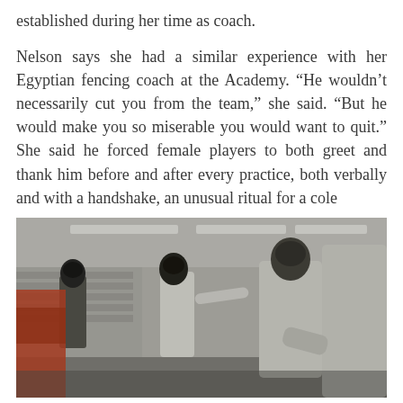established during her time as coach.
Nelson says she had a similar experience with her Egyptian fencing coach at the Academy. “He wouldn’t necessarily cut you from the team,” she said. “But he would make you so miserable you would want to quit.” She said he forced female players to both greet and thank him before and after every practice, both verbally and with a handshake, an unusual ritual for a cole
[Figure (photo): A photograph of fencers in white fencing uniforms and helmets in an indoor fencing facility. Several fencers are visible, some shaking hands or in mid-movement. The background shows an indoor sports hall with fluorescent lighting.]